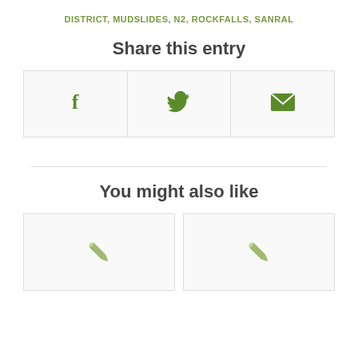DISTRICT, MUDSLIDES, N2, ROCKFALLS, SANRAL
Share this entry
[Figure (other): Three share buttons side by side: Facebook icon (f), Twitter bird icon, Email envelope icon]
You might also like
[Figure (other): Two article thumbnail cards side by side, each showing a pencil/edit icon on a light background]